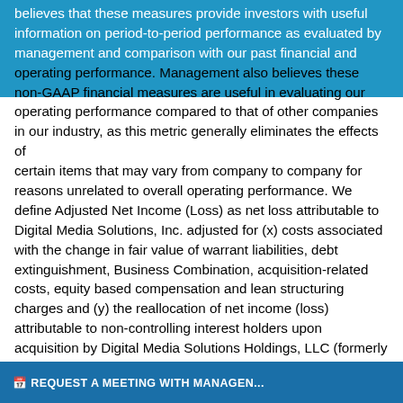believes that these measures provide investors with useful information on period-to-period performance as evaluated by management and comparison with our past financial and operating performance. Management also believes these non-GAAP financial measures are useful in evaluating our operating performance compared to that of other companies in our industry, as this metric generally eliminates the effects of certain items that may vary from company to company for reasons unrelated to overall operating performance. We define Adjusted Net Income (Loss) as net loss attributable to Digital Media Solutions, Inc. adjusted for (x) costs associated with the change in fair value of warrant liabilities, debt extinguishment, Business Combination, acquisition-related costs, equity based compensation and lean restructuring charges and (y) the reallocation of net income (loss) attributable to non-controlling interest holders upon acquisition by Digital Media Solutions Holdings, LLC (formerly Media Solutions Holdings, LLC and formerly the units held by subsidiaries of Digital Media Solutions, Inc.) for newly-issued shares of Class A Common Stock of Digital Media Solutions, Inc. Adjusted Net Income (Loss) per share is formed by dividing Adjusted Net Income (Loss) as described by the weighted-average shares of Class A Common Stock outstanding on a non-diluted and diluted basis.